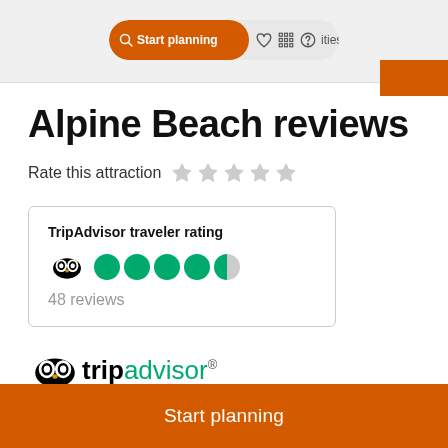[Figure (screenshot): Top navigation bar with orange 'Start planning' search button, heart icon, grid icon, and question mark icon. An orange rectangle visible at top right.]
Alpine Beach reviews
Rate this attraction ☆☆☆☆☆
| TripAdvisor traveler rating |
| 🦉●●●●◑ |
| 48 reviews |
[Figure (logo): TripAdvisor logo with owl icon, 'trip' in black bold, 'advisor' in green, and registered trademark superscript]
Start planning